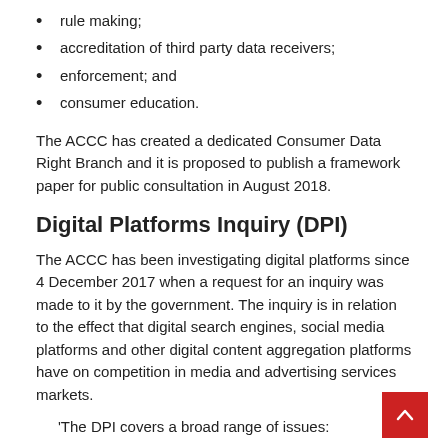rule making;
accreditation of third party data receivers;
enforcement; and
consumer education.
The ACCC has created a dedicated Consumer Data Right Branch and it is proposed to publish a framework paper for public consultation in August 2018.
Digital Platforms Inquiry (DPI)
The ACCC has been investigating digital platforms since 4 December 2017 when a request for an inquiry was made to it by the government. The inquiry is in relation to the effect that digital search engines, social media platforms and other digital content aggregation platforms have on competition in media and advertising services markets.
'The DPI covers a broad range of issues: